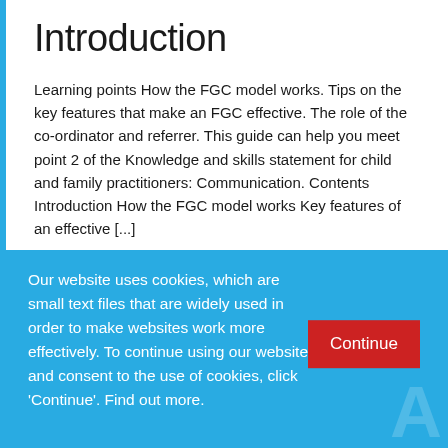Introduction
Learning points How the FGC model works. Tips on the key features that make an FGC effective. The role of the co-ordinator and referrer. This guide can help you meet point 2 of the Knowledge and skills statement for child and family practitioners: Communication. Contents Introduction How the FGC model works Key features of an effective [...]
Our website uses cookies, which are small text files that are widely used in order to make websites work more effectively. To continue using our website and consent to the use of cookies, click 'Continue'. Find out more.